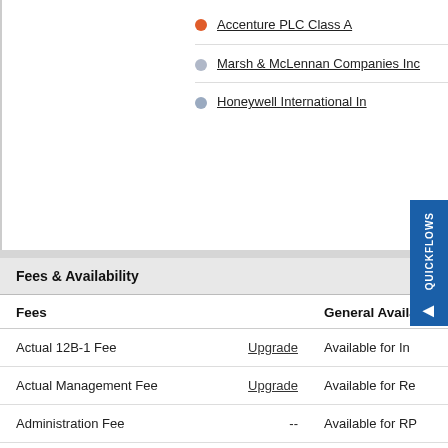Accenture PLC Class A
Marsh & McLennan Companies Inc
Honeywell International In
Fees & Availability
| Fees |  | General Availa... |
| --- | --- | --- |
| Actual 12B-1 Fee | Upgrade | Available for In... |
| Actual Management Fee | Upgrade | Available for Re... |
| Administration Fee | -- | Available for RP... |
| Performance Fee | -- | Purchase Detai... |